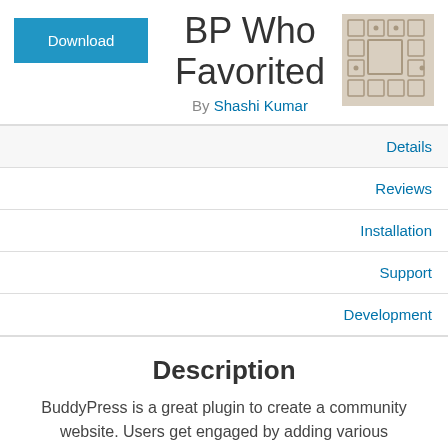BP Who Favorited
By Shashi Kumar
Details
Reviews
Installation
Support
Development
Description
BuddyPress is a great plugin to create a community website. Users get engaged by adding various